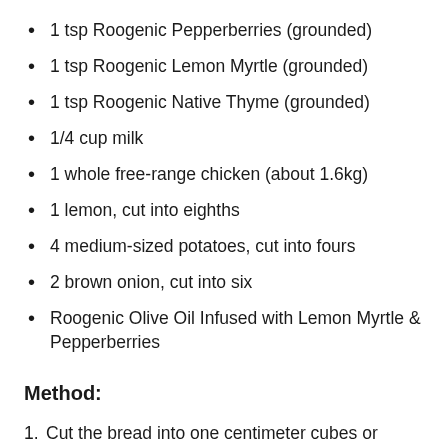1 tsp Roogenic Pepperberries (grounded)
1 tsp Roogenic Lemon Myrtle (grounded)
1 tsp Roogenic Native Thyme (grounded)
1/4 cup milk
1 whole free-range chicken (about 1.6kg)
1 lemon, cut into eighths
4 medium-sized potatoes, cut into fours
2 brown onion, cut into six
Roogenic Olive Oil Infused with Lemon Myrtle & Pepperberries
Method:
Cut the bread into one centimeter cubes or